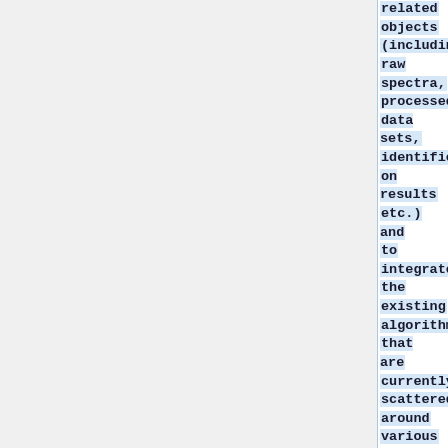related objects (including raw spectra, processed data sets, identification results etc.) and to integrate the existing algorithms that are currently scattered around various Java-based graphical